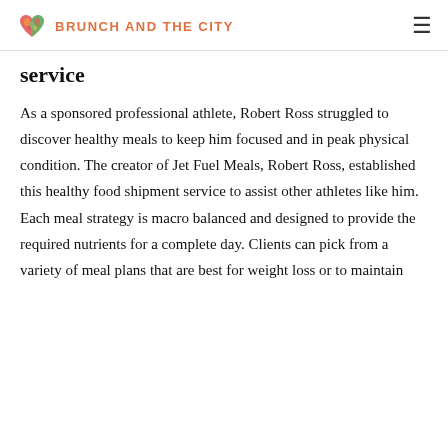BRUNCH AND THE CITY
service
As a sponsored professional athlete, Robert Ross struggled to discover healthy meals to keep him focused and in peak physical condition. The creator of Jet Fuel Meals, Robert Ross, established this healthy food shipment service to assist other athletes like him. Each meal strategy is macro balanced and designed to provide the required nutrients for a complete day. Clients can pick from a variety of meal plans that are best for weight loss or to maintain